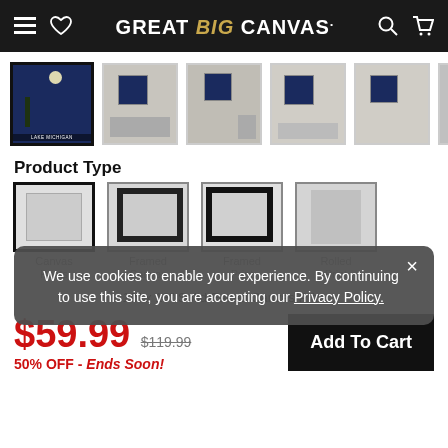GREAT BIG CANVAS.
[Figure (screenshot): Product image thumbnails for a Lake Michigan canvas print shown in various room settings]
Product Type
[Figure (screenshot): Product type selector showing Canvas Prints, Framed Canvas, Framed Print, and Rolled Print options]
We use cookies to enable your experience. By continuing to use this site, you are accepting our Privacy Policy.
12" x 18" Solid-Faced Canvas Print
$59.99  $119.99
50% OFF - Ends Soon!
Add To Cart